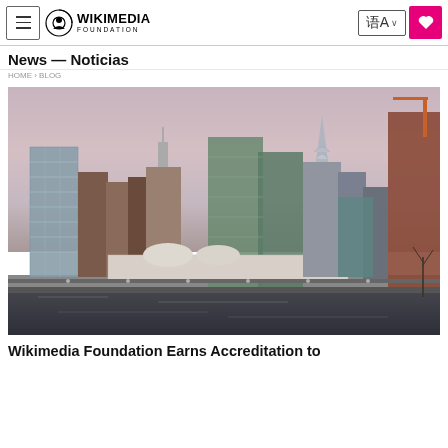Wikimedia Foundation — Navigation header with menu, logo, language selector, and donate button
News — Noticias
[Figure (photo): Photograph of the New York City Midtown Manhattan skyline as seen from across the East River, at dusk/dawn with pink and grey cloudy sky. Visible landmarks include the United Nations headquarters (tall glass slab on left), Empire State Building (center-left spire), Chrysler Building (distinctive art-deco spire on right), and modern glass skyscrapers. The foreground shows dark water and a dock/promenade. A red/orange construction crane is visible at far right.]
Wikimedia Foundation Earns Accreditation to